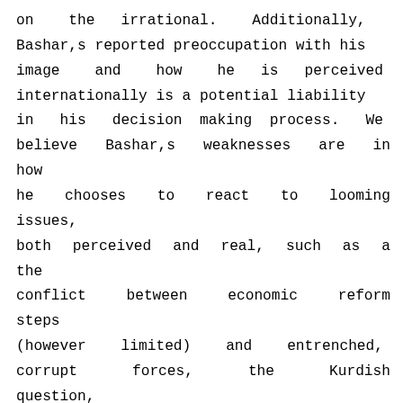on the irrational. Additionally, Bashar,s reported preoccupation with his image and how he is perceived internationally is a potential liability in his decision making process. We believe Bashar,s weaknesses are in how he chooses to react to looming issues, both perceived and real, such as a the conflict between economic reform steps (however limited) and entrenched, corrupt forces, the Kurdish question, and the potential threat to the regime from the increasing presence of transiting Islamist extremists. This